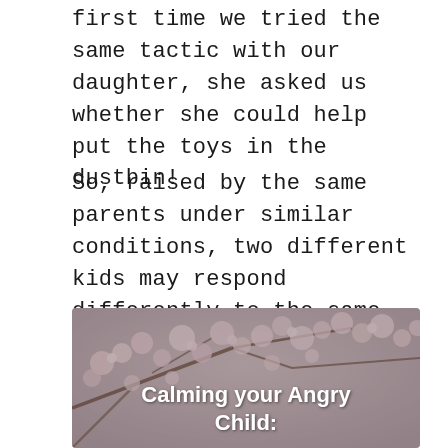first time we tried the same tactic with our daughter, she asked us whether she could help put the toys in the dustbin!
So, raised by the same parents under similar conditions, two different kids may respond differently to the same strategies. This can be especially frustrating when it comes to dealing with anger in children.
[Figure (photo): Cherry blossom tree branches in bloom with pink and white flowers, used as background image with overlay text 'Calming your Angry Child:' in white bold font.]